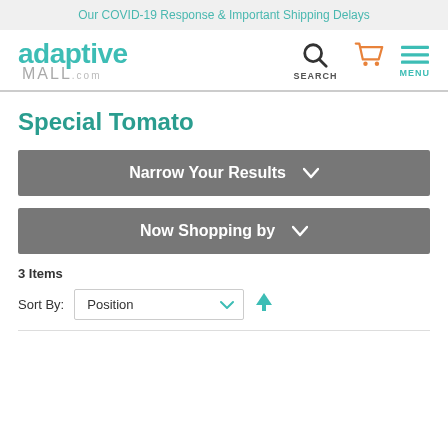Our COVID-19 Response & Important Shipping Delays
[Figure (logo): Adaptive Mall logo with teal 'adaptive' text and grey 'MALL.com' text, alongside search, cart, and menu icons]
Special Tomato
Narrow Your Results ∨
Now Shopping by ∨
3 Items
Sort By: Position ∨ ↑